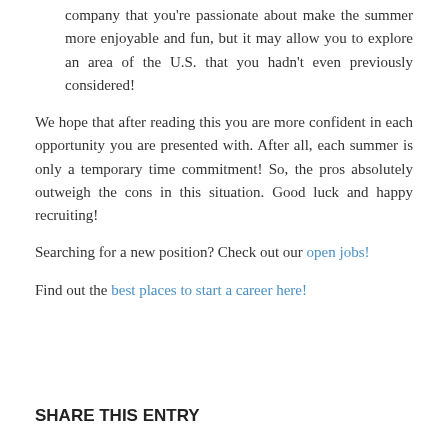company that you're passionate about make the summer more enjoyable and fun, but it may allow you to explore an area of the U.S. that you hadn't even previously considered!
We hope that after reading this you are more confident in each opportunity you are presented with. After all, each summer is only a temporary time commitment! So, the pros absolutely outweigh the cons in this situation. Good luck and happy recruiting!
Searching for a new position? Check out our open jobs!
Find out the best places to start a career here!
SHARE THIS ENTRY